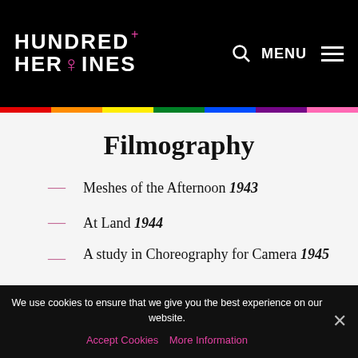HUNDRED+ HEROINES
Filmography
Meshes of the Afternoon 1943
At Land 1944
A study in Choreography for Camera 1945
Ritual in Transfigured Time
We use cookies to ensure that we give you the best experience on our website.
Accept Cookies   More Information